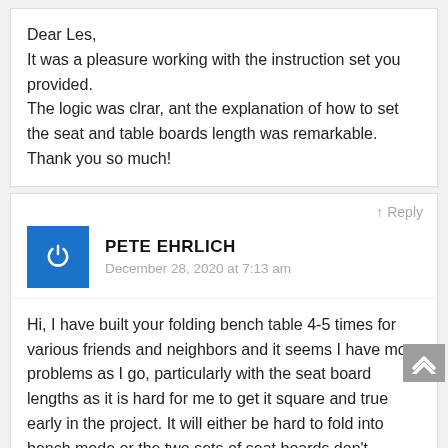Dear Les,
It was a pleasure working with the instruction set you provided.
The logic was clrar, ant the explanation of how to set the seat and table boards length was remarkable.
Thank you so much!
↑ Reply
[Figure (logo): Blue square avatar with white power/on button icon]
PETE EHRLICH
December 28, 2020 at 7:13 am
Hi, I have built your folding bench table 4-5 times for various friends and neighbors and it seems I have more problems as I go, particularly with the seat board lengths as it is hard for me to get it square and true early in the project. It will either be hard to fold into bench mode or the two sets of seat boards don't